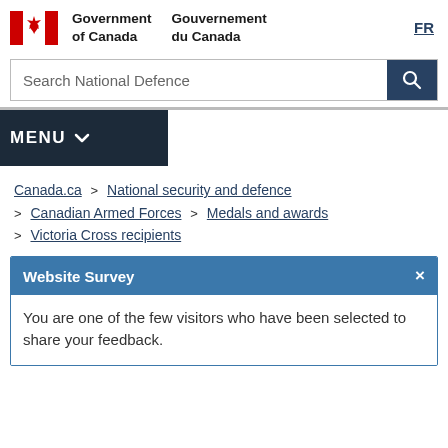[Figure (logo): Government of Canada / Gouvernement du Canada logo with Canadian flag (red and white maple leaf)]
Search National Defence
FR
MENU
Canada.ca > National security and defence > Canadian Armed Forces > Medals and awards > Victoria Cross recipients
Website Survey
You are one of the few visitors who have been selected to share your feedback.